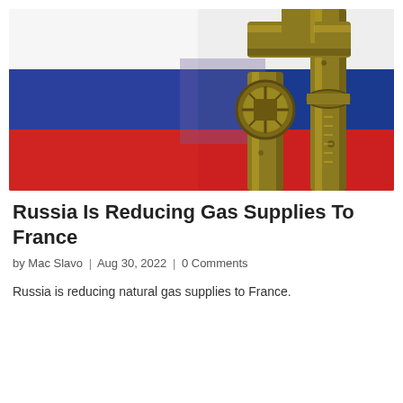[Figure (photo): Gold/bronze colored gas pipeline valves and pipes in front of the Russian flag (white, blue, red horizontal stripes)]
Russia Is Reducing Gas Supplies To France
by Mac Slavo | Aug 30, 2022 | 0 Comments
Russia is reducing natural gas supplies to France.